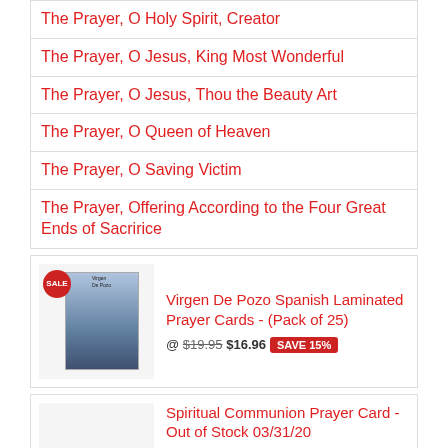The Prayer, O Holy Spirit, Creator
The Prayer, O Jesus, King Most Wonderful
The Prayer, O Jesus, Thou the Beauty Art
The Prayer, O Queen of Heaven
The Prayer, O Saving Victim
The Prayer, Offering According to the Four Great Ends of Sacririce
Virgen De Pozo Spanish Laminated Prayer Cards - (Pack of 25)
@ $19.95 $16.96 SAVE 15%
Spiritual Communion Prayer Card - Out of Stock 03/31/20